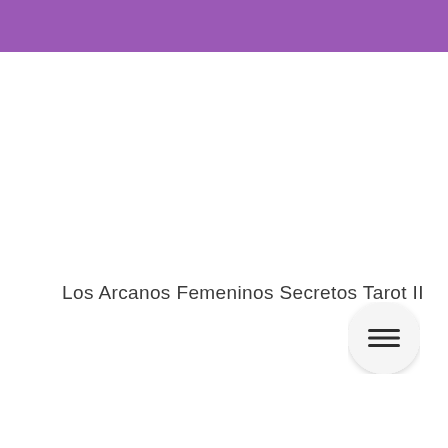Los Arcanos Femeninos Secretos Tarot II
[Figure (other): Hamburger menu button icon — three horizontal lines centered inside a circular white button with drop shadow]